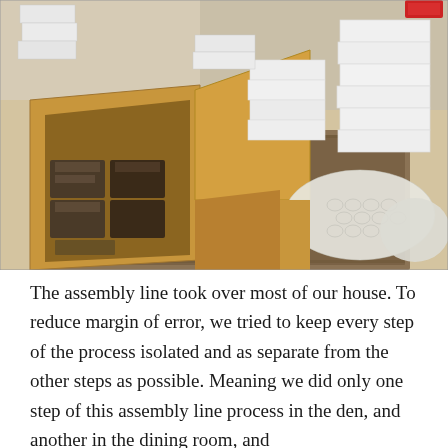[Figure (photo): A room filled with cardboard boxes and stacked white boxes arranged in an assembly line setup. Open large cardboard boxes contain wrapped dark items, and bubble wrap and packing materials are visible on a patterned rug floor.]
The assembly line took over most of our house. To reduce margin of error, we tried to keep every step of the process isolated and as separate from the other steps as possible. Meaning we did only one step of this assembly line process in the den, and another in the dining room, and